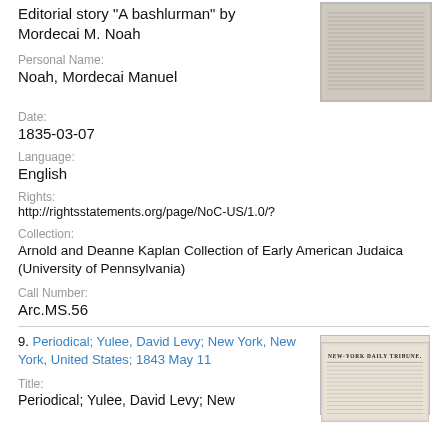Editorial story "A bashlurman" by Mordecai M. Noah
Personal Name:
Noah, Mordecai Manuel
[Figure (photo): Thumbnail image of a newspaper page with dense text columns]
Date:
1835-03-07
Language:
English
Rights:
http://rightsstatements.org/page/NoC-US/1.0/?
Collection:
Arnold and Deanne Kaplan Collection of Early American Judaica (University of Pennsylvania)
Call Number:
Arc.MS.56
9. Periodical; Yulee, David Levy; New York, New York, United States; 1843 May 11
Title:
Periodical; Yulee, David Levy; New
[Figure (photo): Thumbnail image of New York Daily Tribune newspaper]